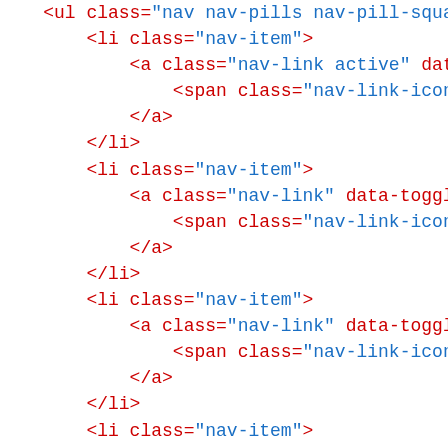<ul class="nav nav-pills nav-pill-square">
    <li class="nav-item">
        <a class="nav-link active" data-to
            <span class="nav-link-icon d-b
        </a>
    </li>
    <li class="nav-item">
        <a class="nav-link" data-toggle="t
            <span class="nav-link-icon d-b
        </a>
    </li>
    <li class="nav-item">
        <a class="nav-link" data-toggle="t
            <span class="nav-link-icon d-b
        </a>
    </li>
    <li class="nav-item">
        <a class="nav-link" data-toggle="t
            <span class="nav-link-icon d-b
        </a>
    </li>
    <li class="nav-item">